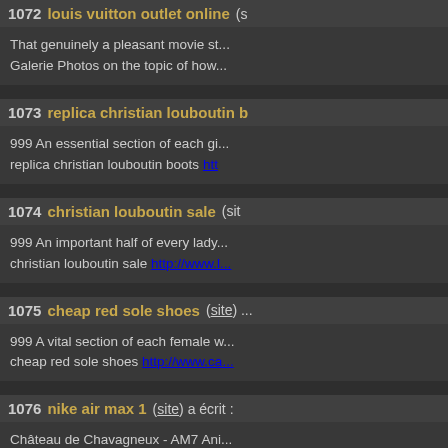1072 louis vuitton outlet online — That genuinely a pleasant movie st... Galerie Photos on the topic of how...
1073 replica christian louboutin b... — 999 An essential section of each gi... replica christian louboutin boots htt...
1074 christian louboutin sale (site...) — 999 An important half of every lady... christian louboutin sale http://www.l...
1075 cheap red sole shoes (site) — 999 A vital section of each female w... cheap red sole shoes http://www.ca...
1076 nike air max 1 (site) a écrit : — Château de Chavagneux - AM7 Ani... nike air max 1 http://www.rossour...